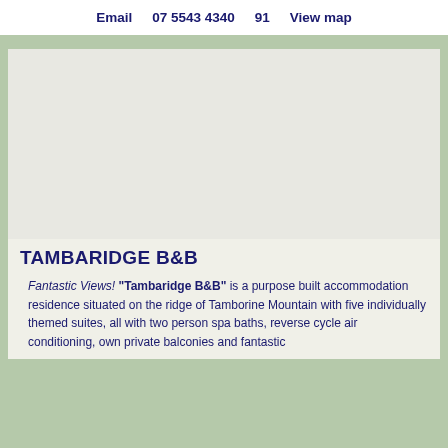Email    07 5543 4340    91    View map
[Figure (photo): Blank/placeholder image area for Tambaridge B&B property photo]
TAMBARIDGE B&B
Fantastic Views! "Tambaridge B&B" is a purpose built accommodation residence situated on the ridge of Tamborine Mountain with five individually themed suites, all with two person spa baths, reverse cycle air conditioning, own private balconies and fantastic